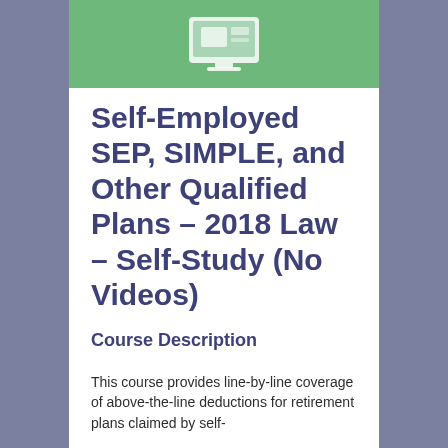[Figure (illustration): Green banner at top with a monitor/screen icon]
Self-Employed SEP, SIMPLE, and Other Qualified Plans – 2018 Law – Self-Study (No Videos)
Course Description
This course provides line-by-line coverage of above-the-line deductions for retirement plans claimed by self-